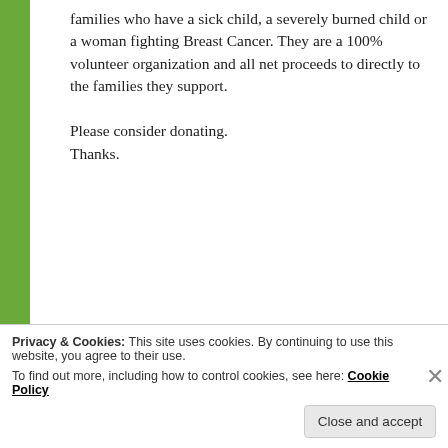families who have a sick child, a severely burned child or a woman fighting Breast Cancer. They are a 100% volunteer organization and all net proceeds to directly to the families they support.

Please consider donating.
Thanks.
Author Interviews
Book Reviews
Cryptozoology
Funny
horror
horror community
horror movies
hunter shea
Jason Brant
Monster Men Podcasts
Scares That Care
authors
Bigfoot
Book Reviews
bourbon
convention
Privacy & Cookies: This site uses cookies. By continuing to use this website, you agree to their use.
To find out more, including how to control cookies, see here: Cookie Policy